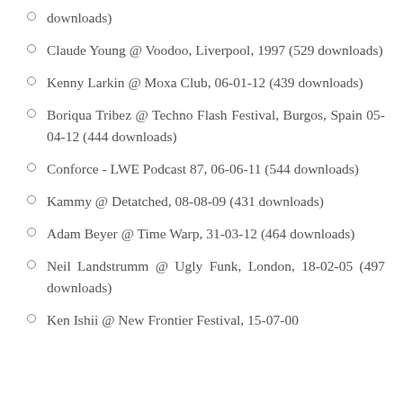downloads)
Claude Young @ Voodoo, Liverpool, 1997 (529 downloads)
Kenny Larkin @ Moxa Club, 06-01-12 (439 downloads)
Boriqua Tribez @ Techno Flash Festival, Burgos, Spain 05-04-12 (444 downloads)
Conforce - LWE Podcast 87, 06-06-11 (544 downloads)
Kammy @ Detatched, 08-08-09 (431 downloads)
Adam Beyer @ Time Warp, 31-03-12 (464 downloads)
Neil Landstrumm @ Ugly Funk, London, 18-02-05 (497 downloads)
Ken Ishii @ New Frontier Festival, 15-07-00